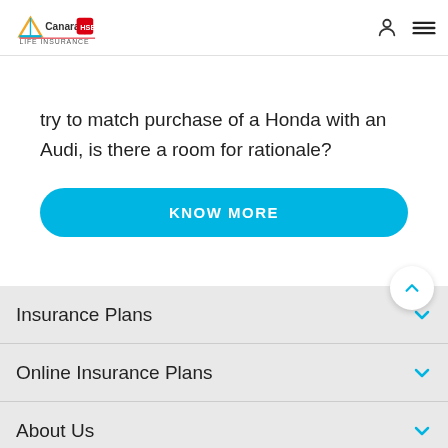Canara HSBC Life Insurance
try to match purchase of a Honda with an Audi, is there a room for rationale?
[Figure (other): KNOW MORE button - cyan/blue rounded pill button]
Insurance Plans
Online Insurance Plans
About Us